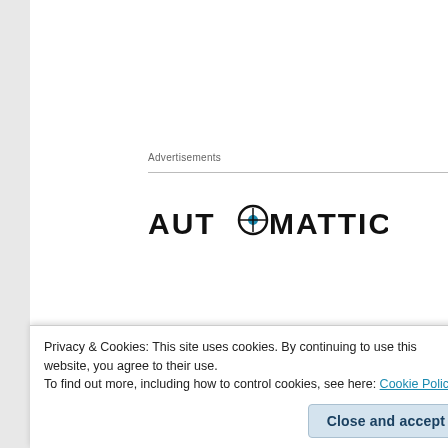Advertisements
[Figure (logo): Automattic logo in black text with a compass/circle replacing the 'O']
And if you have fairly understood data science topics and wondering how the real process or projects can look like? The please do check out this Azure Machine Learning documentation on What is the Team Data Science Process?. I have come across many links, documents, papers on practical usage however this one
Privacy & Cookies: This site uses cookies. By continuing to use this website, you agree to their use.
To find out more, including how to control cookies, see here: Cookie Policy
Close and accept
begin sharing my thoughts on Data Science as regularly